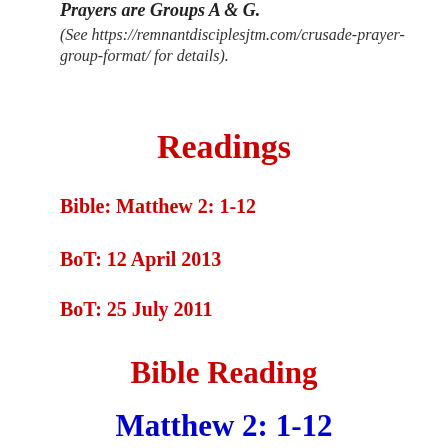Prayers are Groups A & G.
(See https://remnantdisciplesjtm.com/crusade-prayer-group-format/ for details).
Readings
Bible: Matthew 2: 1-12
BoT: 12 April 2013
BoT: 25 July 2011
Bible Reading
Matthew 2: 1-12